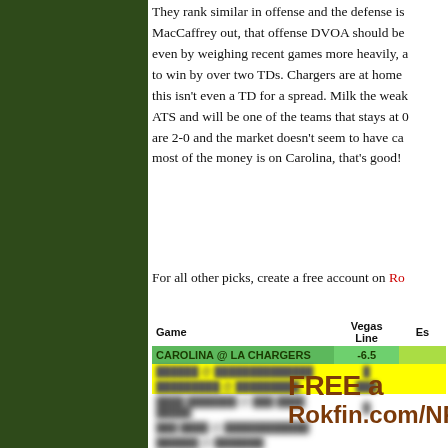They rank similar in offense and the defense is... MacCaffrey out, that offense DVOA should be... even by weighing recent games more heavily, a... to win by over two TDs. Chargers are at home... this isn't even a TD for a spread. Milk the weak... ATS and will be one of the teams that stays at 0... are 2-0 and the market doesn't seem to have ca... most of the money is on Carolina, that's good!
For all other picks, create a free account on Ro
| Game | Vegas Line | Es |
| --- | --- | --- |
| CAROLINA @ LA CHARGERS | -6.5 |  |
| [blurred] | [blurred] |  |
| [blurred] | [blurred] |  |
| [blurred] | [blurred] |  |
| [blurred] | [blurred] |  |
| [blurred] | [blurred] |  |
| [blurred] | [blurred] |  |
| [blurred] | [blurred] |  |
FREE a
Rokfin.com/NF